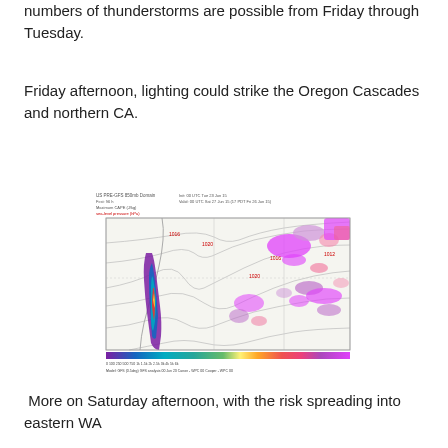numbers of thunderstorms are possible from Friday through Tuesday.
Friday afternoon, lighting could strike the Oregon Cascades and northern CA.
[Figure (map): US PRE-GFS 850mb Domain weather map showing precipitation/moisture with color gradient overlay highlighting the Pacific Coast and western US region. Shows contour lines and colored precipitation areas along Oregon/California coast and scattered magenta/pink areas in eastern regions. Includes color scale bar at bottom.]
More on Saturday afternoon, with the risk spreading into eastern WA